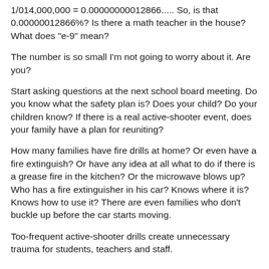1/014,000,000 = 0.00000000012866..... So, is that 0.00000012866%? Is there a math teacher in the house? What does "e-9" mean?
The number is so small I'm not going to worry about it. Are you?
Start asking questions at the next school board meeting. Do you know what the safety plan is? Does your child? Do your children know? If there is a real active-shooter event, does your family have a plan for reuniting?
How many families have fire drills at home? Or even have a fire extinguish? Or have any idea at all what to do if there is a grease fire in the kitchen? Or the microwave blows up? Who has a fire extinguisher in his car? Knows where it is? Knows how to use it? There are even families who don't buckle up before the car starts moving.
Too-frequent active-shooter drills create unnecessary trauma for students, teachers and staff.